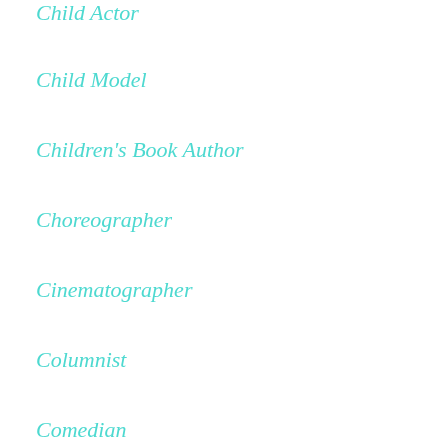Child Actor
Child Model
Children's Book Author
Choreographer
Cinematographer
Columnist
Comedian
Commentator
Composer
Conservationist
Consultant
Cook
Correspondent
Cosplayer
Costume Designer